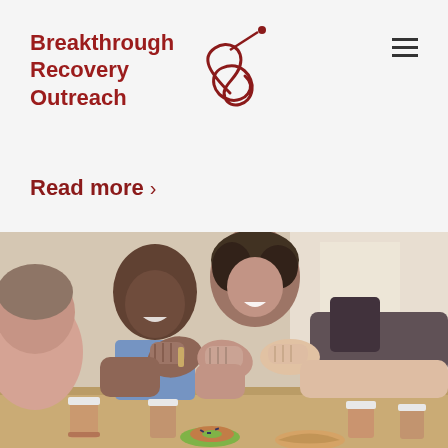[Figure (logo): Breakthrough Recovery Outreach logo with red text and abstract red swirl/knot icon]
Read more >
[Figure (photo): Group of people doing fist bumps around a table with coffee cups, donuts, and pastries. People are smiling and celebrating.]